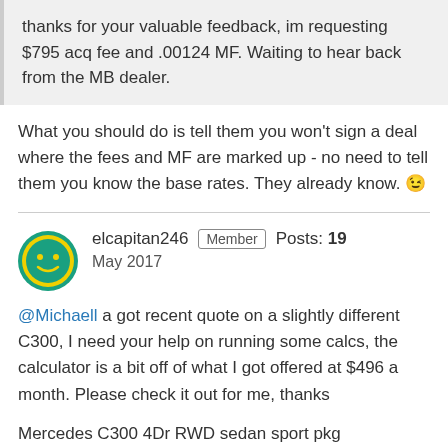thanks for your valuable feedback, im requesting $795 acq fee and .00124 MF. Waiting to hear back from the MB dealer.
What you should do is tell them you won't sign a deal where the fees and MF are marked up - no need to tell them you know the base rates. They already know. 😉
elcapitan246  Member  Posts: 19  May 2017
@Michaell a got recent quote on a slightly different C300, I need your help on running some calcs, the calculator is a bit off of what I got offered at $496 a month. Please check it out for me, thanks
Mercedes C300 4Dr RWD sedan sport pkg
MSRP: 45,660
Sales Price: 39,160